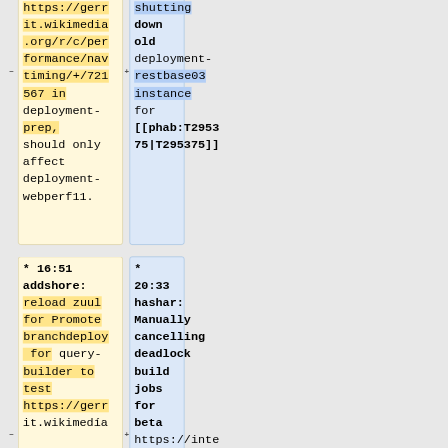it.wikimedia.org/r/c/performance/navtiming/+/721567 in deployment-prep, should only affect deployment-webperf11.
shutting down old deployment-restbase03 instance for [[phab:T295375|T295375]]
* 16:51 addshore: reload zuul for Promote branchdeploy for query-builder to test https://gerrit.wikimedia
* 20:33 hashar: Manually cancelling deadlock build jobs for beta https://integration.wikimedia.org/ci